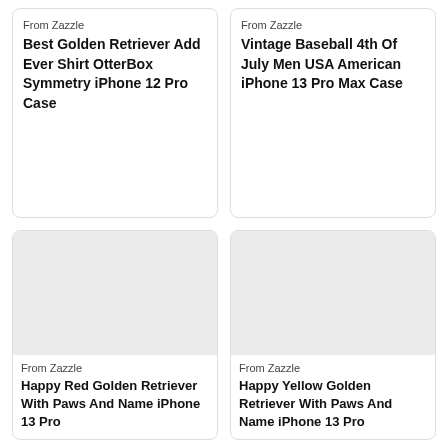From Zazzle
Best Golden Retriever Add Ever Shirt OtterBox Symmetry iPhone 12 Pro Case
From Zazzle
Vintage Baseball 4th Of July Men USA American iPhone 13 Pro Max Case
[Figure (photo): Product image placeholder (blank/gray) for Happy Red Golden Retriever With Paws And Name iPhone 13 Pro case]
From Zazzle
Happy Red Golden Retriever With Paws And Name iPhone 13 Pro
[Figure (photo): Product image placeholder (blank/gray) for Happy Yellow Golden Retriever With Paws And Name iPhone 13 Pro case]
From Zazzle
Happy Yellow Golden Retriever With Paws And Name iPhone 13 Pro